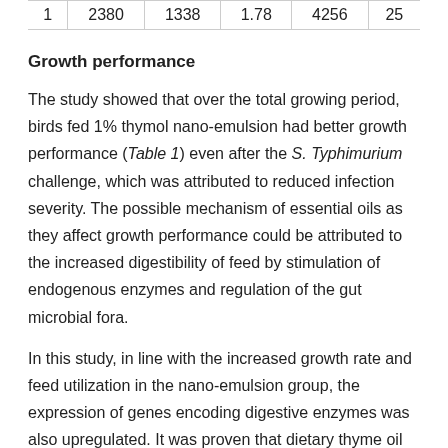| 1 | 2380 | 1338 | 1.78 | 4256 | 25 |
Growth performance
The study showed that over the total growing period, birds fed 1% thymol nano-emulsion had better growth performance (Table 1) even after the S. Typhimurium challenge, which was attributed to reduced infection severity. The possible mechanism of essential oils as they affect growth performance could be attributed to the increased digestibility of feed by stimulation of endogenous enzymes and regulation of the gut microbial fora.
In this study, in line with the increased growth rate and feed utilization in the nano-emulsion group, the expression of genes encoding digestive enzymes was also upregulated. It was proven that dietary thyme oil increased the digestive